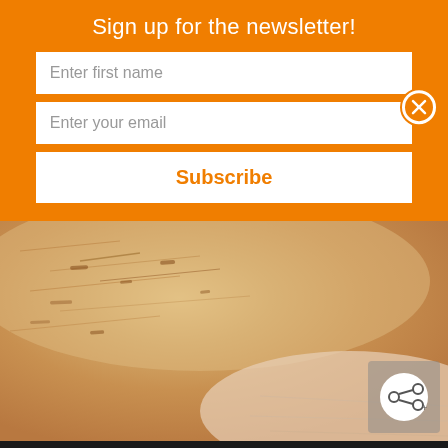Sign up for the newsletter!
Enter first name
Enter your email
Subscribe
[Figure (photo): Close-up photo of a cork roll or cork material showing natural texture, with lighter fabric or material visible at the bottom right]
[Figure (infographic): SHE CAN STEM advertisement banner with Learn More button, STEM logo, Ad Council logo, and weather/media logo on dark background]